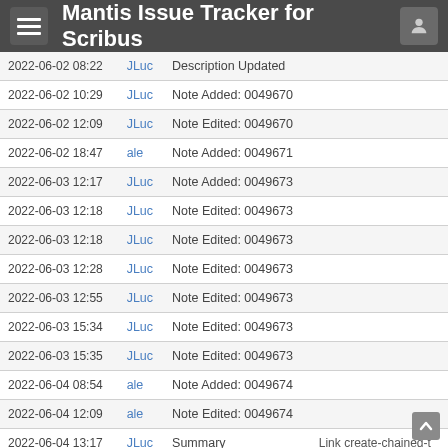Mantis Issue Tracker for Scribus
| Date | User | Action | Extra |
| --- | --- | --- | --- |
| 2022-06-02 08:22 | JLuc | Description Updated |  |
| 2022-06-02 10:29 | JLuc | Note Added: 0049670 |  |
| 2022-06-02 12:09 | JLuc | Note Edited: 0049670 |  |
| 2022-06-02 18:47 | ale | Note Added: 0049671 |  |
| 2022-06-03 12:17 | JLuc | Note Added: 0049673 |  |
| 2022-06-03 12:18 | JLuc | Note Edited: 0049673 |  |
| 2022-06-03 12:18 | JLuc | Note Edited: 0049673 |  |
| 2022-06-03 12:28 | JLuc | Note Edited: 0049673 |  |
| 2022-06-03 12:55 | JLuc | Note Edited: 0049673 |  |
| 2022-06-03 15:34 | JLuc | Note Edited: 0049673 |  |
| 2022-06-03 15:35 | JLuc | Note Edited: 0049673 |  |
| 2022-06-04 08:54 | ale | Note Added: 0049674 |  |
| 2022-06-04 12:09 | ale | Note Edited: 0049674 |  |
| 2022-06-04 13:17 | JLuc | Summary | Link create-chained-t |
| 2022-06-04 13:17 | JLuc | Description Updated |  |
| 2022-06-04 13:17 | JLuc | Note Added: 0049675 |  |